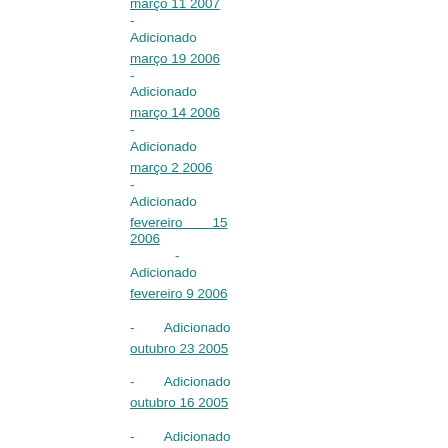março 11 2007 - Adicionado
março 19 2006 - Adicionado
março 14 2006 - Adicionado
março 2 2006 - Adicionado
fevereiro 15 2006 - Adicionado
fevereiro 9 2006 - Adicionado
outubro 23 2005 - Adicionado
outubro 16 2005 - Adicionado
outubro 9 2005 - Adicionado
setembro 13 2005 - Adicionado
agosto 5 2005 - Adicionado